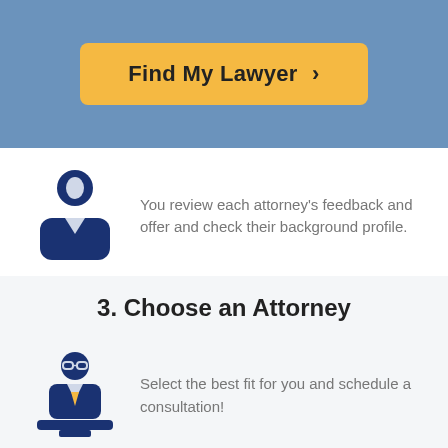[Figure (infographic): Orange 'Find My Lawyer >' button on blue background]
[Figure (illustration): Blue person/user silhouette icon]
You review each attorney's feedback and offer and check their background profile.
3. Choose an Attorney
[Figure (illustration): Blue lawyer at podium icon with glasses]
Select the best fit for you and schedule a consultation!
Consumer Satisfaction and Success Stories